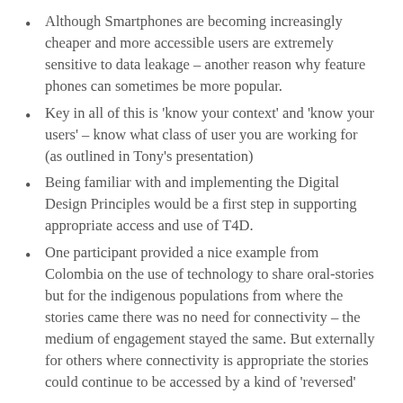Although Smartphones are becoming increasingly cheaper and more accessible users are extremely sensitive to data leakage – another reason why feature phones can sometimes be more popular.
Key in all of this is 'know your context' and 'know your users' – know what class of user you are working for (as outlined in Tony's presentation)
Being familiar with and implementing the Digital Design Principles would be a first step in supporting appropriate access and use of T4D.
One participant provided a nice example from Colombia on the use of technology to share oral-stories but for the indigenous populations from where the stories came there was no need for connectivity – the medium of engagement stayed the same. But externally for others where connectivity is appropriate the stories could continue to be accessed by a kind of 'reversed'